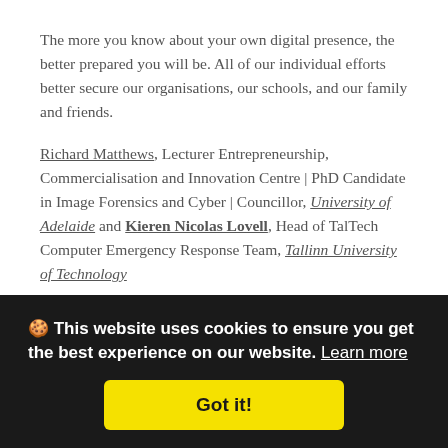The more you know about your own digital presence, the better prepared you will be. All of our individual efforts better secure our organisations, our schools, and our family and friends.
Richard Matthews, Lecturer Entrepreneurship, Commercialisation and Innovation Centre | PhD Candidate in Image Forensics and Cyber | Councillor, University of Adelaide and Kieren Nicolas Lovell, Head of TalTech Computer Emergency Response Team, Tallinn University of Technology
This article is republished from The Conversation under a Creative Commons licence. Read the original article.
🍪 This website uses cookies to ensure you get the best experience on our website. Learn more